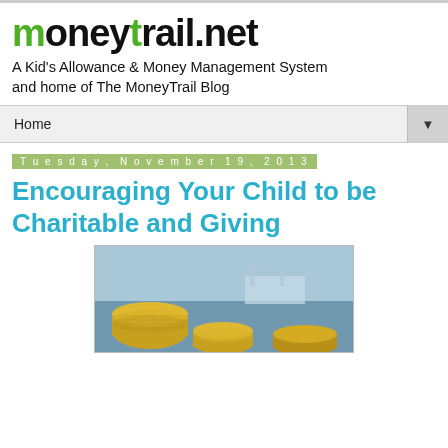moneytrail.net
A Kid's Allowance & Money Management System and home of The MoneyTrail Blog
Home ▼
Tuesday, November 19, 2013
Encouraging Your Child to be Charitable and Giving
[Figure (photo): Photo of gold coins stacked in jars with a background image of a ship at sea, related to saving and charitable giving]